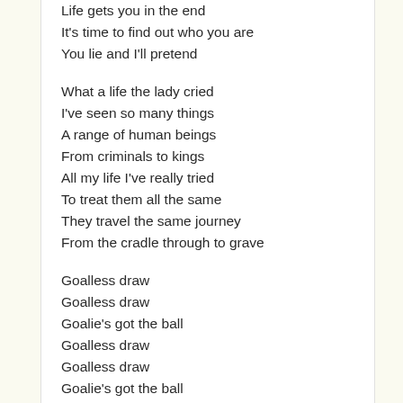Life gets you in the end
It's time to find out who you are
You lie and I'll pretend

What a life the lady cried
I've seen so many things
A range of human beings
From criminals to kings
All my life I've really tried
To treat them all the same
They travel the same journey
From the cradle through to grave

Goalless draw
Goalless draw
Goalie's got the ball
Goalless draw
Goalless draw
Goalie's got the ball
Goalless draw
Goalless draw
Goalie's got the ball
Goalless draw